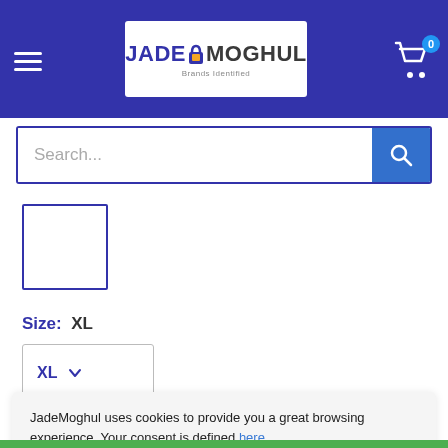[Figure (screenshot): JadeMoghul e-commerce website header with logo, hamburger menu, cart icon with badge '0', and search bar]
[Figure (illustration): Product image placeholder — empty white box with blue border]
Size: XL
[Figure (screenshot): Size dropdown selector showing XL with chevron arrow]
$0.00
JadeMoghul uses cookies to provide you a great browsing experience. Your consent is defined here.
Sure!